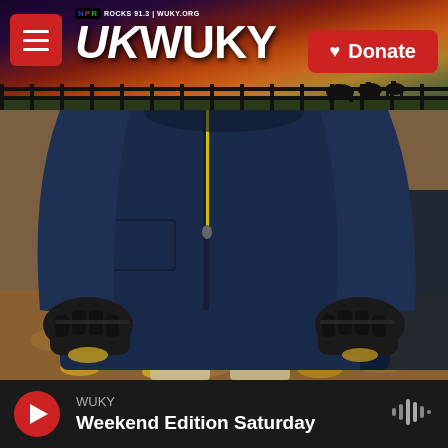NPR ROCKS 91.3 | WUKY.ORG — WUKY Logo — Donate button
[Figure (photo): Close-up photo of a person wearing a navy blue jacket with yellow zipper accents and black gloves, bending forward with hands near ground level. Background shows dried leaves and rocky soil outdoors.]
WUKY — Weekend Edition Saturday (audio player bar with play button and waveform icon)